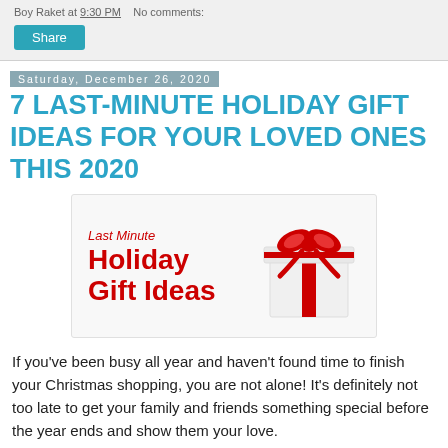Boy Raket at 9:30 PM   No comments:
Share
Saturday, December 26, 2020
7 LAST-MINUTE HOLIDAY GIFT IDEAS FOR YOUR LOVED ONES THIS 2020
[Figure (illustration): Last Minute Holiday Gift Ideas banner with a white gift box with red ribbon and bow on the right, and text on the left reading 'Last Minute Holiday Gift Ideas' in red]
If you've been busy all year and haven't found time to finish your Christmas shopping, you are not alone! It's definitely not too late to get your family and friends something special before the year ends and show them your love.